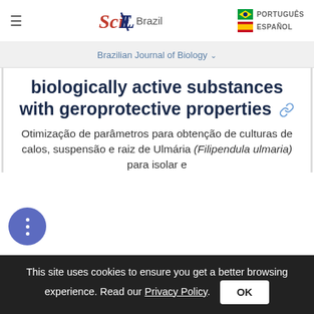SciELO Brazil | PORTUGUÊS | ESPAÑOL
Brazilian Journal of Biology
biologically active substances with geroprotective properties
Otimização de parâmetros para obtenção de culturas de calos, suspensão e raiz de Ulmária (Filipendula ulmaria) para isolar e
This site uses cookies to ensure you get a better browsing experience. Read our Privacy Policy.